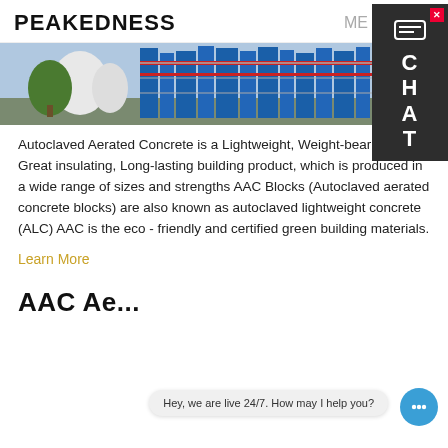PEAKEDNESS
[Figure (photo): Industrial facility with blue steel structures, tanks and red accent elements — likely a concrete/AAC production plant]
Autoclaved Aerated Concrete is a Lightweight, Weight-bearing, Great insulating, Long-lasting building product, which is produced in a wide range of sizes and strengths AAC Blocks (Autoclaved aerated concrete blocks) are also known as autoclaved lightweight concrete (ALC) AAC is the eco - friendly and certified green building materials.
Learn More
AAC Ae...